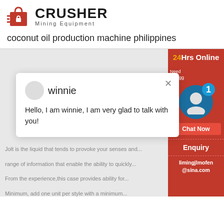[Figure (logo): Crusher Mining Equipment logo with red shopping bag icon and bold CRUSHER text]
coconut oil production machine philippines
[Figure (screenshot): Website chat popup with '24Hrs Online' header in red, agent named 'winnie' saying 'Hello, I am winnie, I am very glad to talk with you!', with a cyan badge showing '1', 'Need & suggestions' text, 'Chat Now' button, 'Enquiry' section, and 'limingjlmofen@sina.com' email, all in a red sidebar panel]